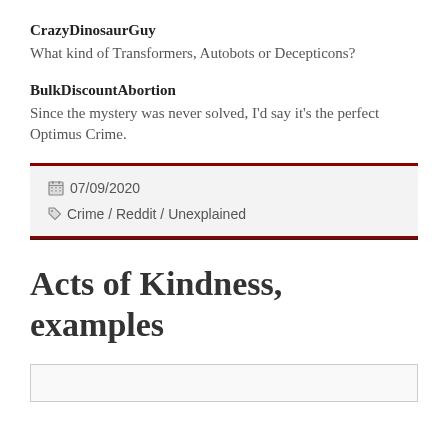CrazyDinosaurGuy
What kind of Transformers, Autobots or Decepticons?
BulkDiscountAbortion
Since the mystery was never solved, I'd say it's the perfect Optimus Crime.
07/09/2020
Crime / Reddit / Unexplained
Acts of Kindness, examples